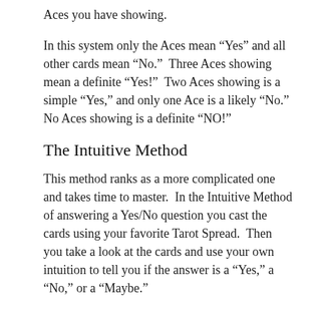Aces you have showing.
In this system only the Aces mean “Yes” and all other cards mean “No.”  Three Aces showing mean a definite “Yes!”  Two Aces showing is a simple “Yes,” and only one Ace is a likely “No.”  No Aces showing is a definite “NO!”
The Intuitive Method
This method ranks as a more complicated one and takes time to master.  In the Intuitive Method of answering a Yes/No question you cast the cards using your favorite Tarot Spread.  Then you take a look at the cards and use your own intuition to tell you if the answer is a “Yes,” a “No,” or a “Maybe.”